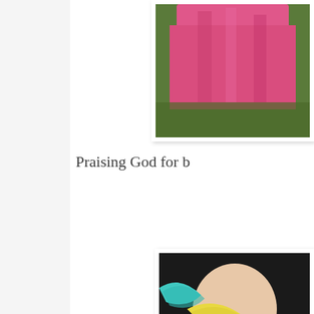[Figure (photo): Photo of a person wearing a pink outfit, partially visible, on grass background. Top right corner of page.]
Praising God for b
[Figure (photo): Photo of a baby or young child with colorful curly ribbons (teal, yellow) and pastel clothing. Bottom right of page.]